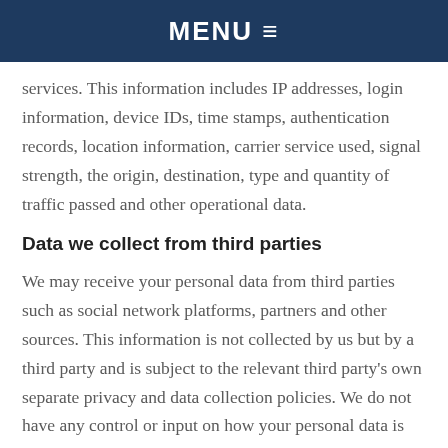MENU ≡
services. This information includes IP addresses, login information, device IDs, time stamps, authentication records, location information, carrier service used, signal strength, the origin, destination, type and quantity of traffic passed and other operational data.
Data we collect from third parties
We may receive your personal data from third parties such as social network platforms, partners and other sources. This information is not collected by us but by a third party and is subject to the relevant third party's own separate privacy and data collection policies. We do not have any control or input on how your personal data is handled by third parties so if